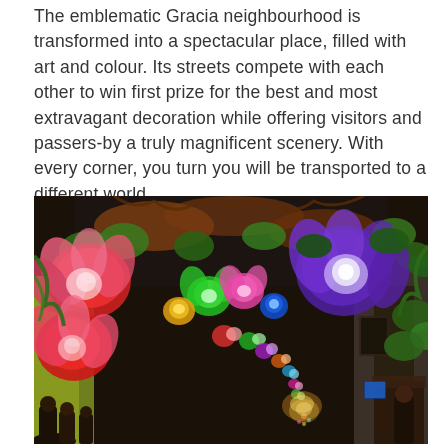The emblematic Gracia neighbourhood is transformed into a spectacular place, filled with art and colour. Its streets compete with each other to win first prize for the best and most extravagant decoration while offering visitors and passers-by a truly magnificent scenery. With every corner, you turn you will be transported to a different world.
[Figure (photo): A street in the Gracia neighbourhood of Barcelona decorated with colourful illuminated flower lanterns hanging overhead. Large red and pink fuchsia-shaped lanterns dominate the left side, purple flower lanterns on the right, green foliage throughout, and a long corridor of multicoloured glowing lanterns receding into the distance. Crowds of people walk below in the warm night light.]